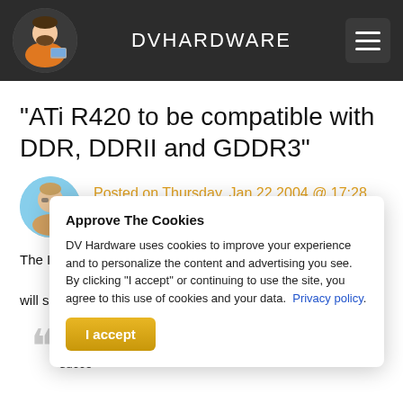DVHARDWARE
"ATi R420 to be compatible with DDR, DDRII and GDDR3"
Posted on Thursday, Jan 22 2004 @ 17:28 CET by Thomas De Maesschalck
The Inquirer h... memory the... will support.
ATI'S... no int... succe...
Approve The Cookies
DV Hardware uses cookies to improve your experience and to personalize the content and advertising you see. By clicking "I accept" or continuing to use the site, you agree to this use of cookies and your data. Privacy policy.